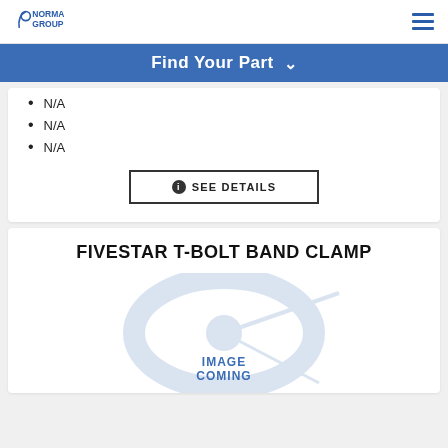NORMA GROUP
Find Your Part
N/A
N/A
N/A
SEE DETAILS
FIVESTAR T-BOLT BAND CLAMP
[Figure (illustration): Product image placeholder with light blue Norma Group logo watermark and 'IMAGE COMING' text]